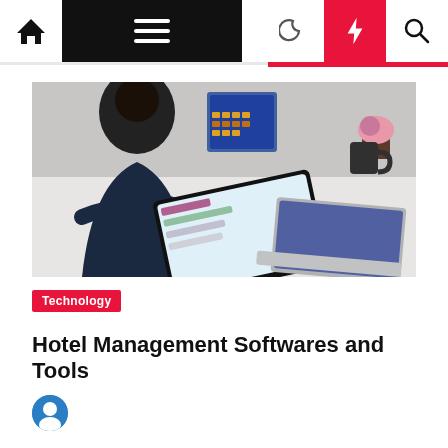Navigation bar with home, menu, moon, bolt, and search icons
[Figure (photo): A woman sitting at a desk using a stylus on a tablet, with a laptop and other office items in the background.]
Technology
Hotel Management Softwares and Tools